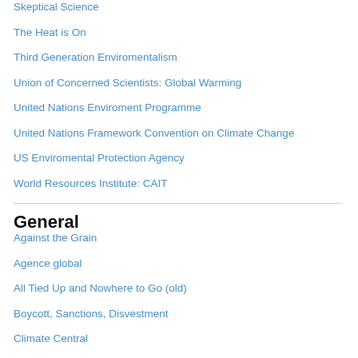Skeptical Science
The Heat is On
Third Generation Enviromentalism
Union of Concerned Scientists: Global Warming
United Nations Enviroment Programme
United Nations Framework Convention on Climate Change
US Enviromental Protection Agency
World Resources Institute: CAIT
General
Against the Grain
Agence global
All Tied Up and Nowhere to Go (old)
Boycott, Sanctions, Disvestment
Climate Central
Corey Robin
CounterPunch
Critical Sociology